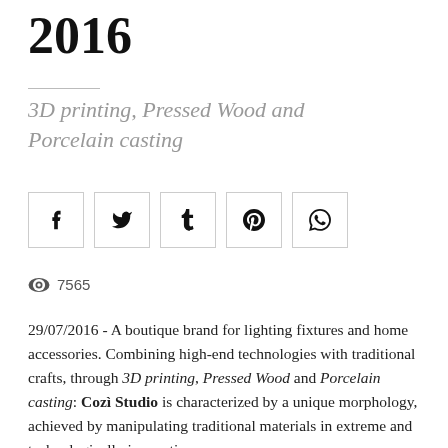2016
3D printing, Pressed Wood and Porcelain casting
[Figure (other): Social media share buttons: Facebook (f), Twitter (y/bird), Tumblr (t), Pinterest (p), WhatsApp (phone/message icon)]
7565 (views)
29/07/2016 - A boutique brand for lighting fixtures and home accessories. Combining high-end technologies with traditional crafts, through 3D printing, Pressed Wood and Porcelain casting: Cozì Studio is characterized by a unique morphology, achieved by manipulating traditional materials in extreme and technologically innovative ways.